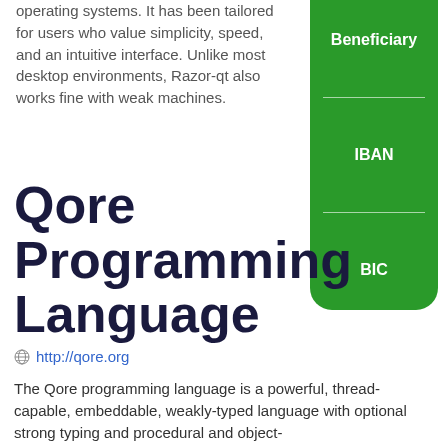operating systems. It has been tailored for users who value simplicity, speed, and an intuitive interface. Unlike most desktop environments, Razor-qt also works fine with weak machines.
[Figure (other): Green rounded rectangle panel showing three white-text labels: Beneficiary, IBAN, BIC, separated by horizontal white lines]
Qore Programming Language
http://qore.org
The Qore programming language is a powerful, thread-capable, embeddable, weakly-typed language with optional strong typing and procedural and object-